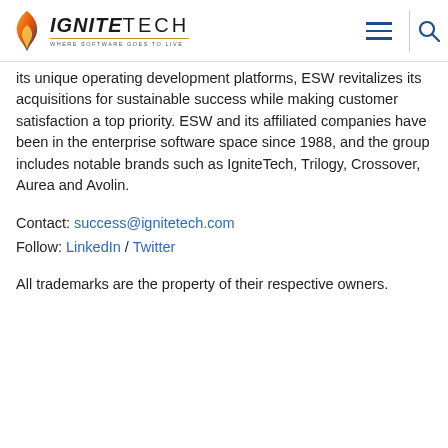IGNITETECH — WHERE SOFTWARE GOES TO LIVE
its unique operating development platforms, ESW revitalizes its acquisitions for sustainable success while making customer satisfaction a top priority. ESW and its affiliated companies have been in the enterprise software space since 1988, and the group includes notable brands such as IgniteTech, Trilogy, Crossover, Aurea and Avolin.
Contact: success@ignitetech.com
Follow: LinkedIn / Twitter
All trademarks are the property of their respective owners.